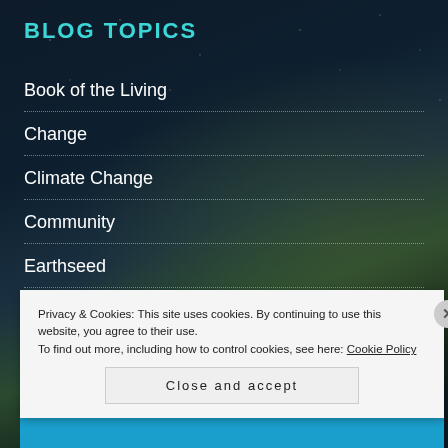BLOG TOPICS
Book of the Living
Change
Climate Change
Community
Earthseed
Ecology
Privacy & Cookies: This site uses cookies. By continuing to use this website, you agree to their use.
To find out more, including how to control cookies, see here: Cookie Policy
Close and accept